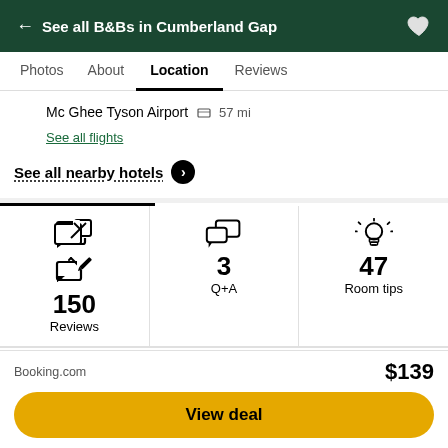← See all B&Bs in Cumberland Gap
Photos | About | Location | Reviews
Mc Ghee Tyson Airport 57 mi
See all flights
See all nearby hotels ❯
150 Reviews | 3 Q+A | 47 Room tips
Reviews
Write a review
Booking.com  $139
View deal